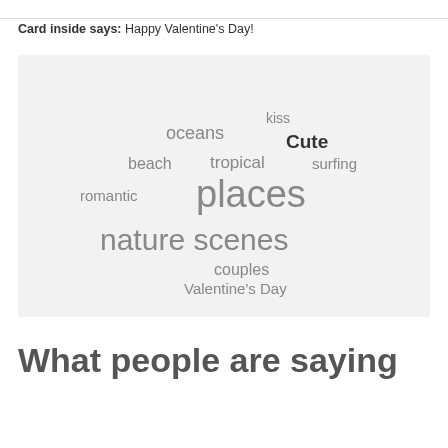Card inside says: Happy Valentine's Day!
[Figure (infographic): Word cloud with Valentine's Day and travel-related terms. Words shown: kiss, oceans, Cute, beach, tropical, surfing, romantic, places, nature scenes, couples, Valentine's Day. Words vary in size with 'places' and 'nature scenes' being the largest.]
What people are saying